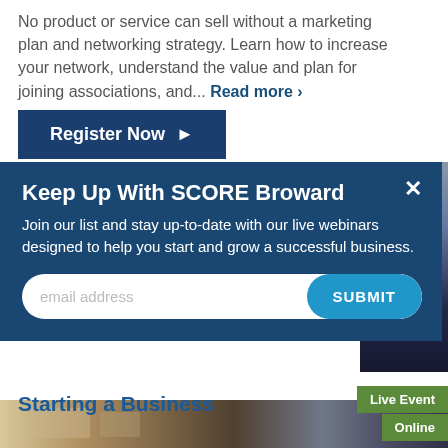No product or service can sell without a marketing plan and networking strategy. Learn how to increase your network, understand the value and plan for joining associations, and... Read more ›
Register Now ▶
Keep Up With SCORE Broward
Join our list and stay up-to-date with our live webinars designed to help you start and grow a successful business.
[Figure (screenshot): Email signup form with email address input field and blue SUBMIT button, inside a dark blue modal popup with a close X button]
[Figure (photo): Photo of people at a business event or workshop, partially visible behind the modal popup]
Starting a Business
Live Event
Online